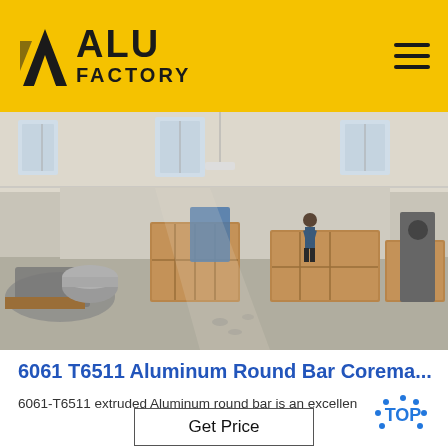ALU FACTORY
[Figure (photo): Interior of a manufacturing warehouse with wooden shipping crates, packaged goods, a worker in the background, industrial equipment, and a concrete floor with natural light coming through windows.]
6061 T6511 Aluminum Round Bar Corema...
6061-T6511 extruded Aluminum round bar is an excellen...
Get Price